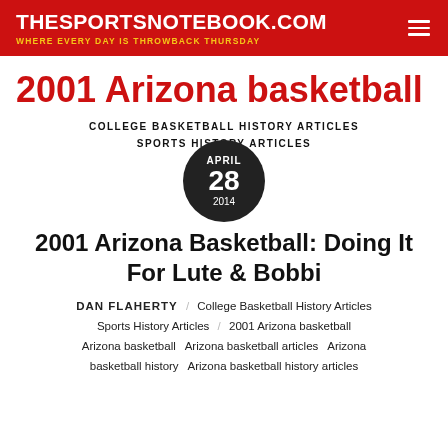THESPORTSNOTEBOOK.COM — WHERE EVERY DAY IS THROWBACK THURSDAY
2001 Arizona basketball
COLLEGE BASKETBALL HISTORY ARTICLES
SPORTS HISTORY ARTICLES
APRIL 28 2014
2001 Arizona Basketball: Doing It For Lute & Bobbi
DAN FLAHERTY / College Basketball History Articles Sports History Articles / 2001 Arizona basketball Arizona basketball  Arizona basketball articles  Arizona basketball history  Arizona basketball history articles